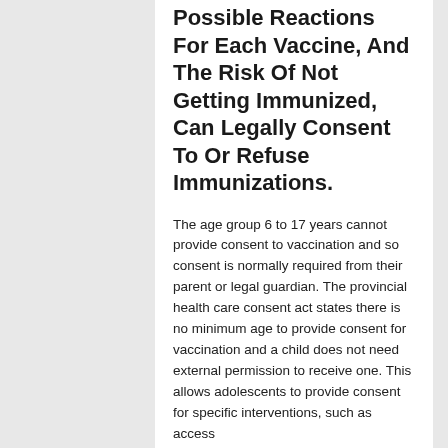Possible Reactions For Each Vaccine, And The Risk Of Not Getting Immunized, Can Legally Consent To Or Refuse Immunizations.
The age group 6 to 17 years cannot provide consent to vaccination and so consent is normally required from their parent or legal guardian. The provincial health care consent act states there is no minimum age to provide consent for vaccination and a child does not need external permission to receive one. This allows adolescents to provide consent for specific interventions, such as access
You Should Contact An Attorney To Discuss.
It's recommended that parents or guardians and their children discuss consent for immunizations.